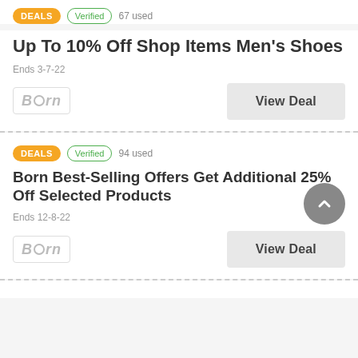DEALS | Verified | 67 used
Up To 10% Off Shop Items Men's Shoes
Ends 3-7-22
View Deal
DEALS | Verified | 94 used
Born Best-Selling Offers Get Additional 25% Off Selected Products
Ends 12-8-22
View Deal